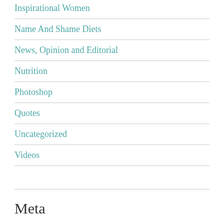Inspirational Women
Name And Shame Diets
News, Opinion and Editorial
Nutrition
Photoshop
Quotes
Uncategorized
Videos
Meta